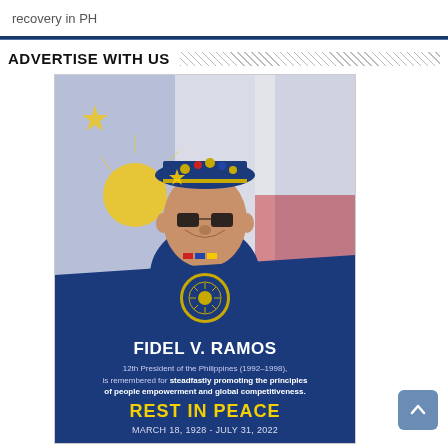recovery in PH
ADVERTISE WITH US
[Figure (photo): Memorial tribute poster for Fidel V. Ramos, 12th President of the Philippines (1992-1998), showing his photo against a Philippine flag background, with text: 'FIDEL V. RAMOS, 12th President of the Philippines (1992-1998), is remembered for steadfastly promoting the principles of people empowerment and global competitiveness. REST IN PEACE. MARCH 18, 1928 - JULY 31, 2022']